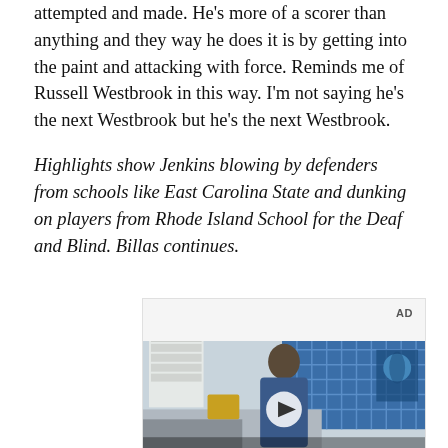attempted and made. He's more of a scorer than anything and they way he does it is by getting into the paint and attacking with force. Reminds me of Russell Westbrook in this way. I'm not saying he's the next Westbrook but he's the next Westbrook.
Highlights show Jenkins blowing by defenders from schools like East Carolina State and dunking on players from Rhode Island School for the Deaf and Blind. Billas continues.
[Figure (other): Video advertisement with a young man standing in front of a blue tiled wall, with text overlay reading 'Unfold your world' and a play button in the center. AD label in upper right.]